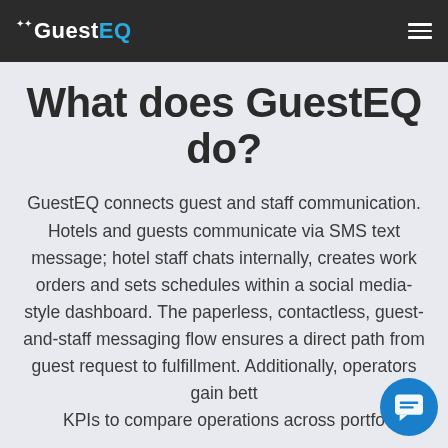GuestEQ
What does GuestEQ do?
GuestEQ connects guest and staff communication. Hotels and guests communicate via SMS text message; hotel staff chats internally, creates work orders and sets schedules within a social media-style dashboard. The paperless, contactless, guest-and-staff messaging flow ensures a direct path from guest request to fulfillment. Additionally, operators gain better KPIs to compare operations across portfolio